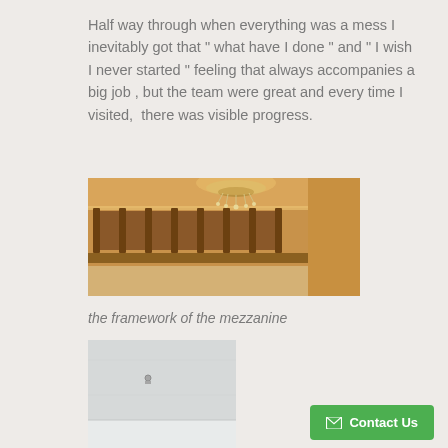Half way through when everything was a mess I inevitably got that " what have I done " and " I wish I never started " feeling that always accompanies a big job , but the team were great and every time I visited,  there was visible progress.
[Figure (photo): Interior photo showing wooden framework/joists of a mezzanine level under construction, with a chandelier visible at the top and warm golden-lit walls with crown molding]
the framework of the mezzanine
[Figure (photo): Interior photo showing a partially plastered or painted white room with a small hook or fitting on the wall]